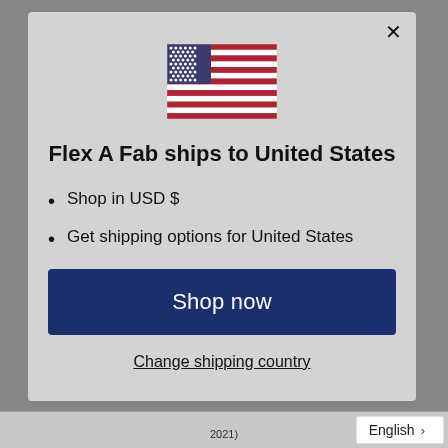[Figure (illustration): US flag SVG illustration centered at top of modal dialog]
Flex A Fab ships to United States
Shop in USD $
Get shipping options for United States
Shop now
Change shipping country
English